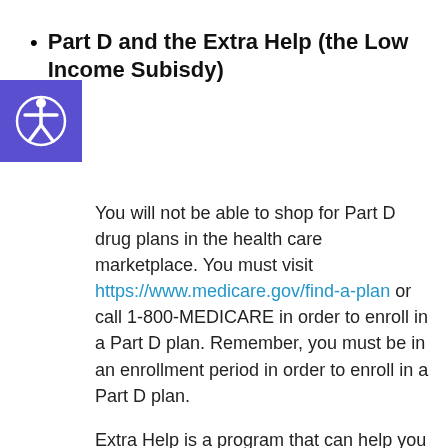Part D and the Extra Help (the Low Income Subisdy)
You will not be able to shop for Part D drug plans in the health care marketplace. You must visit https://www.medicare.gov/find-a-plan or call 1-800-MEDICARE in order to enroll in a Part D plan. Remember, you must be in an enrollment period in order to enroll in a Part D plan.
Extra Help is a program that can help you pay for your drug plan premium and coinsurance. You